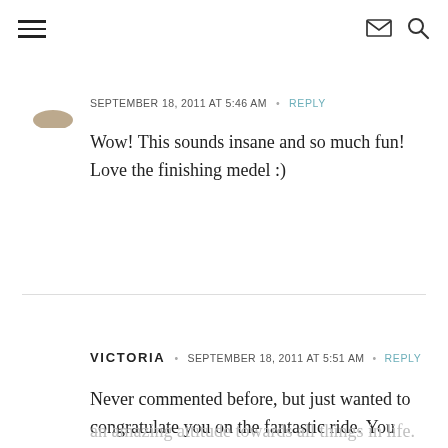Navigation header with hamburger menu, mail icon, and search icon
SEPTEMBER 18, 2011 AT 5:46 AM • REPLY
Wow! This sounds insane and so much fun! Love the finishing medel :)
VICTORIA • SEPTEMBER 18, 2011 AT 5:51 AM • REPLY
Never commented before, but just wanted to congratulate you on the fantastic ride. You have such an amazing attitude towards all things in life. You truly inspire me every-time I read your blog. You exude such